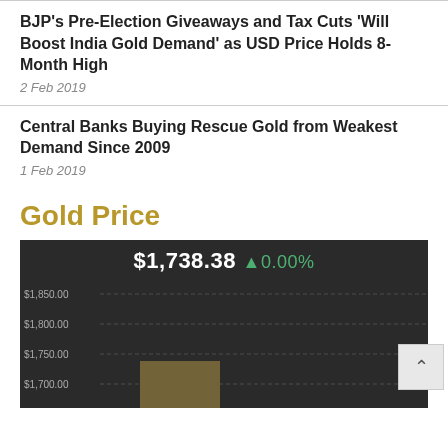BJP's Pre-Election Giveaways and Tax Cuts 'Will Boost India Gold Demand' as USD Price Holds 8-Month High
2 Feb 2019
Central Banks Buying Rescue Gold from Weakest Demand Since 2009
1 Feb 2019
Gold Price
[Figure (bar-chart): Bar chart showing gold price per ounce at $1,738.38 with 0.00% change, dark background chart with y-axis labels $1,700.00, $1,750.00, $1,800.00, $1,850.00]